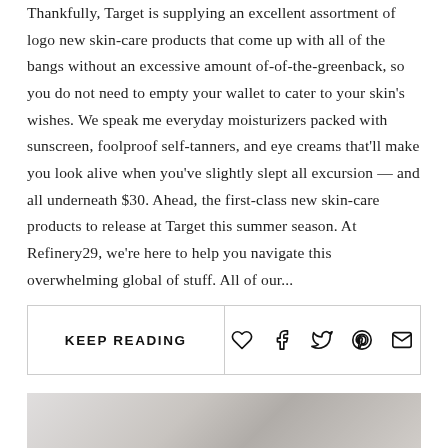Thankfully, Target is supplying an excellent assortment of logo new skin-care products that come up with all of the bangs without an excessive amount of-of-the-greenback, so you do not need to empty your wallet to cater to your skin's wishes. We speak me everyday moisturizers packed with sunscreen, foolproof self-tanners, and eye creams that'll make you look alive when you've slightly slept all excursion — and all underneath $30. Ahead, the first-class new skin-care products to release at Target this summer season. At Refinery29, we're here to help you navigate this overwhelming global of stuff. All of our...
KEEP READING
[Figure (photo): Partial photo at bottom of page showing what appears to be a person with a towel or similar item, mostly cropped out of view]